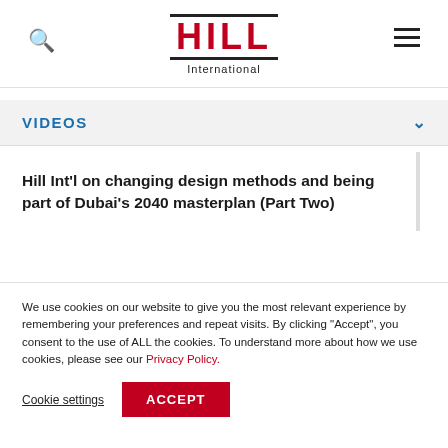Hill International — search icon, logo, hamburger menu
VIDEOS
Hill Int'l on changing design methods and being part of Dubai's 2040 masterplan (Part Two)
We use cookies on our website to give you the most relevant experience by remembering your preferences and repeat visits. By clicking "Accept", you consent to the use of ALL the cookies. To understand more about how we use cookies, please see our Privacy Policy.
Cookie settings  ACCEPT